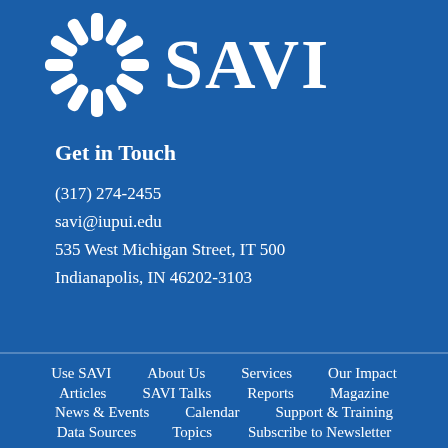[Figure (logo): SAVI logo with sunburst/wheel icon on the left and 'SAVI' text in large white serif letters on a dark blue background]
Get in Touch
(317) 274-2455
savi@iupui.edu
535 West Michigan Street, IT 500
Indianapolis, IN 46202-3103
Use SAVI
About Us
Services
Our Impact
Articles
SAVI Talks
Reports
Magazine
News & Events
Calendar
Support & Training
Data Sources
Topics
Subscribe to Newsletter